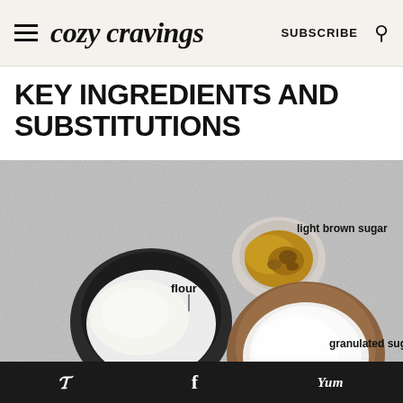cozy cravings — SUBSCRIBE
KEY INGREDIENTS AND SUBSTITUTIONS
[Figure (photo): Overhead flat-lay photo of baking ingredients in bowls on a grey concrete surface. A dark bowl of flour is labeled 'flour', a small white bowl of light brown sugar is labeled 'light brown sugar', and a large bowl with brown rim of white granulated sugar is labeled 'granulated sugar'.]
Pinterest   Facebook   Yum